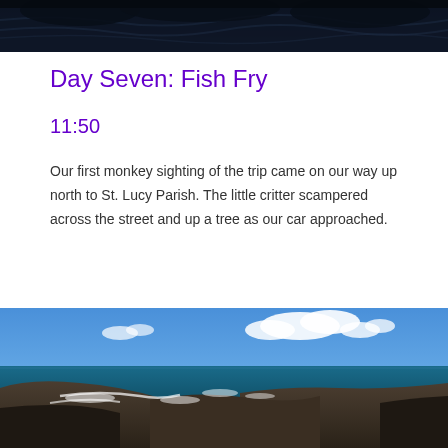[Figure (photo): Dark photo of water and rocks/trees at top of page, partially cropped]
Day Seven: Fish Fry
11:50
Our first monkey sighting of the trip came on our way up north to St. Lucy Parish. The little critter scampered across the street and up a tree as our car approached.
[Figure (photo): Coastal landscape photo showing blue sky with clouds, rocky cliffs, and ocean waves crashing against rocks]